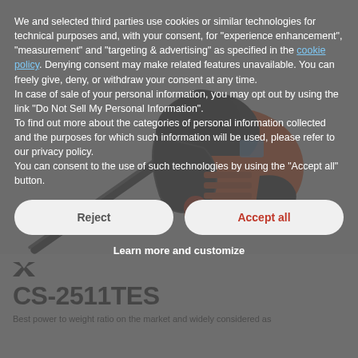We and selected third parties use cookies or similar technologies for technical purposes and, with your consent, for "experience enhancement", "measurement" and "targeting & advertising" as specified in the cookie policy. Denying consent may make related features unavailable. You can freely give, deny, or withdraw your consent at any time. In case of sale of your personal information, you may opt out by using the link "Do Not Sell My Personal Information". To find out more about the categories of personal information collected and the purposes for which such information will be used, please refer to our privacy policy. You can consent to the use of such technologies by using the "Accept all" button.
[Figure (photo): ECHO CS-2511TES chainsaw in orange and black, shown at an angle with the bar and chain visible, against a transparent/white background]
Reject
Accept all
Learn more and customize
[Figure (logo): ECHO brand logo - stylized X with arrows]
CS-2511TES
Best power to weight ratio on the market and widely considered as